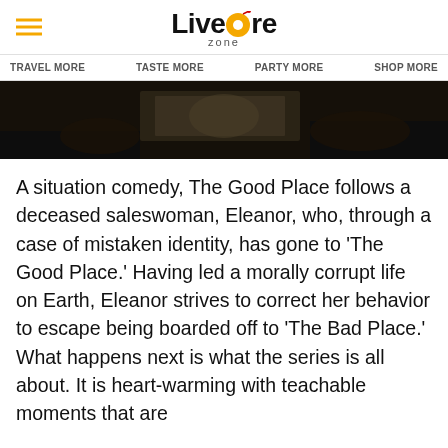Livemore zone
TRAVEL MORE  TASTE MORE  PARTY MORE  SHOP MORE
[Figure (photo): Dark cinematic scene with people in low light, appears to be a still from a TV show]
A situation comedy, The Good Place follows a deceased saleswoman, Eleanor, who, through a case of mistaken identity, has gone to ‘The Good Place.’ Having led a morally corrupt life on Earth, Eleanor strives to correct her behavior to escape being boarded off to ‘The Bad Place.’ What happens next is what the series is all about. It is heart-warming with teachable moments that are